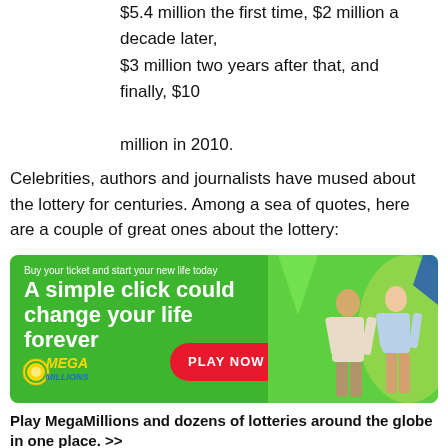$5.4 million the first time, $2 million a decade later, $3 million two years after that, and finally, $10 million in 2010.
Celebrities, authors and journalists have mused about the lottery for centuries. Among a sea of quotes, here are a couple of great ones about the lottery:
[Figure (illustration): Mega Millions lottery advertisement banner with green background showing a couple running on a beach, with tagline 'Buy your ticket and start your new life today', headline 'A simple click could change your life forever', Mega Millions logo, and a red PLAY NOW button with lottery balls numbered 10 and 29.]
Play MegaMillions and dozens of lotteries around the globe in one place. >>
"People would love to be rich, but they're looking for the easy way.